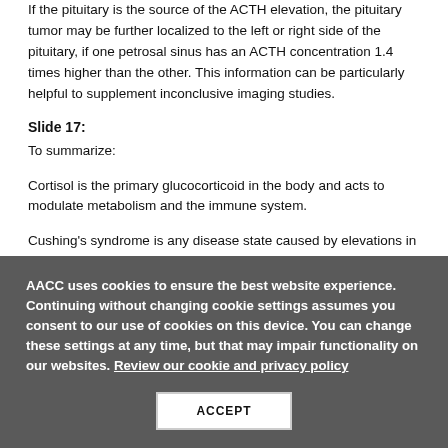If the pituitary is the source of the ACTH elevation, the pituitary tumor may be further localized to the left or right side of the pituitary, if one petrosal sinus has an ACTH concentration 1.4 times higher than the other. This information can be particularly helpful to supplement inconclusive imaging studies.
Slide 17:
To summarize:
Cortisol is the primary glucocorticoid in the body and acts to modulate metabolism and the immune system.
Cushing's syndrome is any disease state caused by elevations in cortisol, and
AACC uses cookies to ensure the best website experience. Continuing without changing cookie settings assumes you consent to our use of cookies on this device. You can change these settings at any time, but that may impair functionality on our websites. Review our cookie and privacy policy